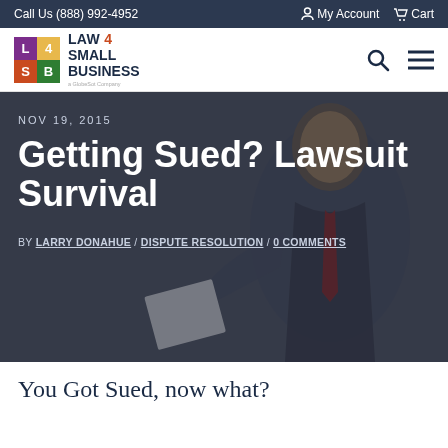Call Us (888) 992-4952 | My Account | Cart
[Figure (logo): Law 4 Small Business (L4SB) logo with colored grid squares and text]
[Figure (photo): Man in suit looking shocked, holding papers — hero background image]
NOV 19, 2015
Getting Sued? Lawsuit Survival
BY LARRY DONAHUE / DISPUTE RESOLUTION / 0 COMMENTS
You Got Sued, now what?